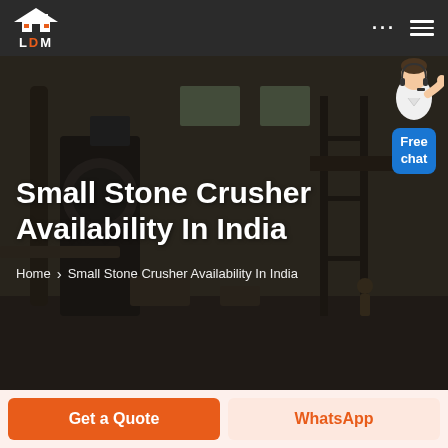LDM
Small Stone Crusher Availability In India
Home > Small Stone Crusher Availability In India
[Figure (illustration): Free chat button with agent illustration]
Get a Quote
WhatsApp